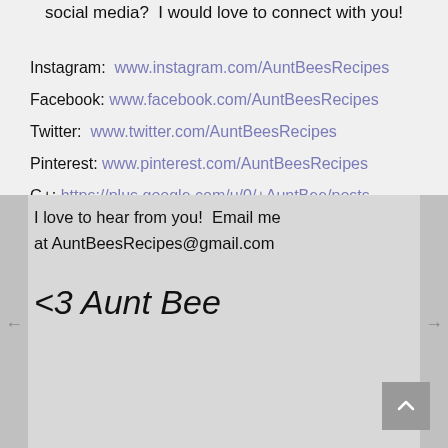social media?  I would love to connect with you!
Instagram:  www.instagram.com/AuntBeesRecipes
Facebook: www.facebook.com/AuntBeesRecipes
Twitter:  www.twitter.com/AuntBeesRecipes
Pinterest: www.pinterest.com/AuntBeesRecipes
G+: https://plus.google.com/u/0/+AuntBee/posts
I love to hear from you!  Email me at AuntBeesRecipes@gmail.com
<3 Aunt Bee